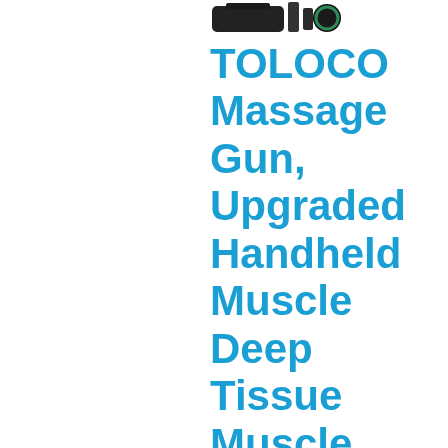[Figure (photo): Product image of TOLOCO Massage Gun device showing the device body, attachments, and accessories at the top of the page]
TOLOCO Massage Gun, Upgraded Handheld Muscle Deep Tissue Muscle Massager, Body Massager,